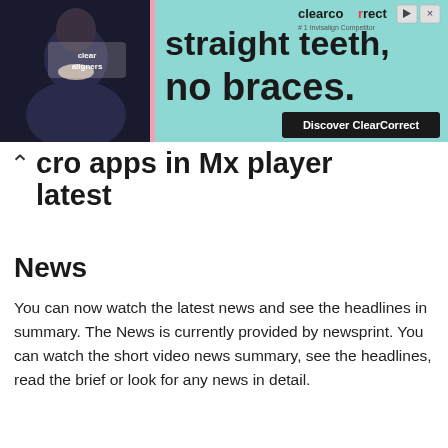[Figure (screenshot): ClearCorrect advertisement banner: 'straight teeth, no braces. Discover ClearCorrect' with a woman smiling on the left side against a teal background]
cro apps in Mx player latest
News
You can now watch the latest news and see the headlines in summary. The News is currently provided by newsprint. You can watch the short video news summary, see the headlines, read the brief or look for any news in detail.
Photo Gallery
With this feature, you can watch the latest celebrity photos, get influencers' latest photos, and more. With the